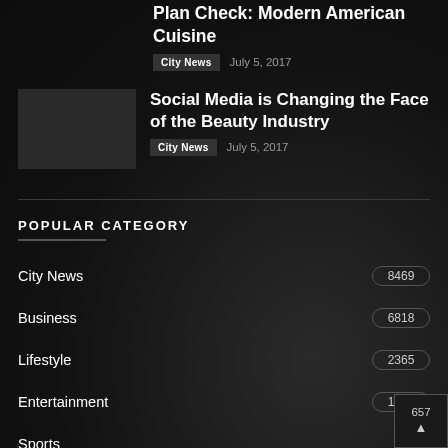Plan Check: Modern American Cuisine
City News   July 5, 2017
Social Media is Changing the Face of the Beauty Industry
City News   July 5, 2017
POPULAR CATEGORY
City News  8469
Business  6818
Lifestyle  2365
Entertainment  1628
Sports  657